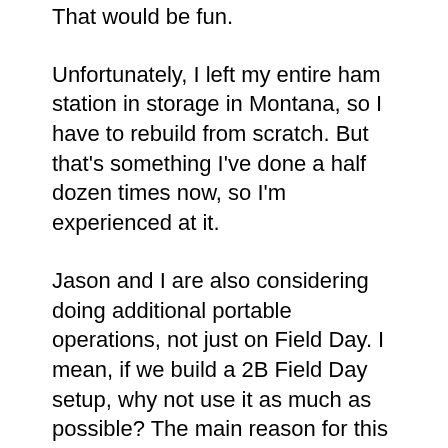That would be fun.
Unfortunately, I left my entire ham station in storage in Montana, so I have to rebuild from scratch. But that's something I've done a half dozen times now, so I'm experienced at it.
Jason and I are also considering doing additional portable operations, not just on Field Day. I mean, if we build a 2B Field Day setup, why not use it as much as possible? The main reason for this thinking is that Clarksburg, WV is an old Rust Belt town, falling apart, including the electric power distribution system. The electrical noise is the worst I've ever seen anywhere. Cracked insulators, arcing connections, and kudzu growing up power poles and sizzling on the wires are common. The last time I operated HF here, power line noise was never less than +10 dB over S9. Digital modes like PSK can manage to some degree with noise like that